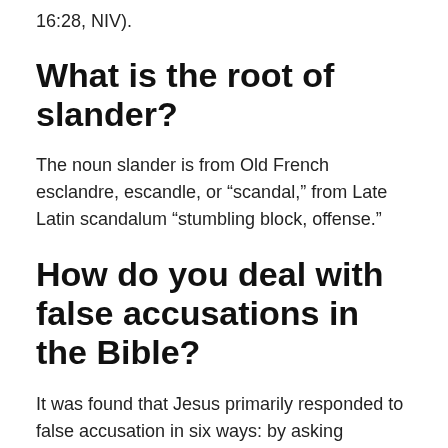16:28, NIV).
What is the root of slander?
The noun slander is from Old French esclandre, escandle, or “scandal,” from Late Latin scandalum “stumbling block, offense.”
How do you deal with false accusations in the Bible?
It was found that Jesus primarily responded to false accusation in six ways: by asking questions; by sharing parables, analogies, or maxims; by giving strong words of condemnation or affirmation; by referring to the scriptures; by withdrawing from the